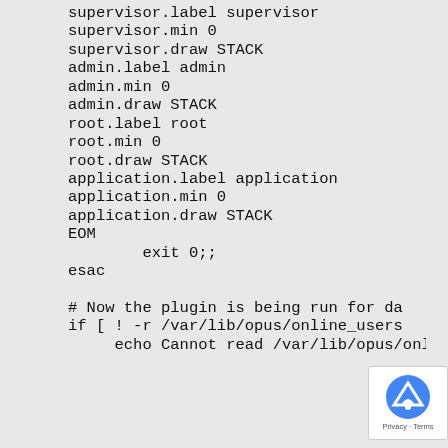supervisor.label supervisor
supervisor.min 0
supervisor.draw STACK
admin.label admin
admin.min 0
admin.draw STACK
root.label root
root.min 0
root.draw STACK
application.label application
application.min 0
application.draw STACK
EOM
        exit 0;;
esac

# Now the plugin is being run for da
if [ ! -r /var/lib/opus/online_users
     echo Cannot read /var/lib/opus/onli